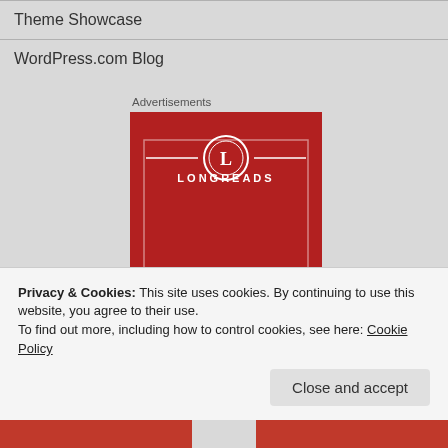Theme Showcase
WordPress.com Blog
Advertisements
[Figure (logo): Longreads advertisement banner — red background with white 'L' in circle and 'LONGREADS' text, with decorative border lines]
Privacy & Cookies: This site uses cookies. By continuing to use this website, you agree to their use.
To find out more, including how to control cookies, see here: Cookie Policy
Close and accept